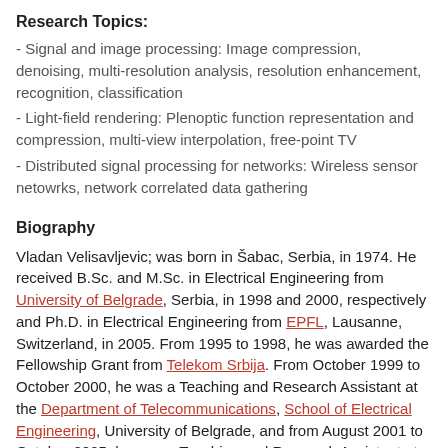Research Topics:
- Signal and image processing: Image compression, denoising, multi-resolution analysis, resolution enhancement, recognition, classification
- Light-field rendering: Plenoptic function representation and compression, multi-view interpolation, free-point TV
- Distributed signal processing for networks: Wireless sensor netowrks, network correlated data gathering
Biography
Vladan Velisavljevic; was born in Šabac, Serbia, in 1974. He received B.Sc. and M.Sc. in Electrical Engineering from University of Belgrade, Serbia, in 1998 and 2000, respectively and Ph.D. in Electrical Engineering from EPFL, Lausanne, Switzerland, in 2005. From 1995 to 1998, he was awarded the Fellowship Grant from Telekom Srbija. From October 1999 to October 2000, he was a Teaching and Research Assistant at the Department of Telecommunications, School of Electrical Engineering, University of Belgrade, and from August 2001 to October 2005, he was a Teaching and Research Assistant at the Audiovisual Communications Laboratory, EPFL. From October 2000 to July 2001, he was attending the Pre-doctoral School at EPFL, where he was awarded as the best student in class. In 2003, he was at an internship at the Communications and Signal